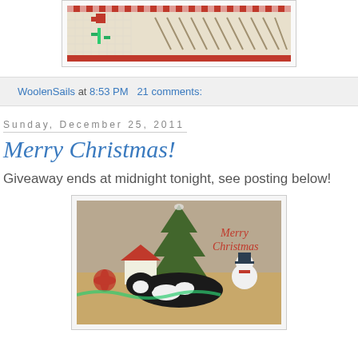[Figure (photo): Cross-stitch needlework pattern showing a flower/tulip design with checkered border, partially visible at top of page]
WoolenSails at 8:53 PM   21 comments:
Sunday, December 25, 2011
Merry Christmas!
Giveaway ends at midnight tonight, see posting below!
[Figure (photo): Photo of a black and white cat lying on a wooden surface surrounded by Christmas decorations including a small tree, snowman figurine, miniature house, and poinsettia. Text in red script reads 'Merry Christmas' in upper right.]